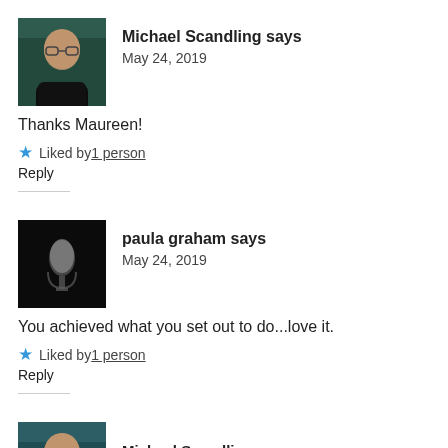[Figure (photo): Avatar photo of Michael Scandling – man with glasses, green/dark background]
Michael Scandling says
May 24, 2019
Thanks Maureen!
★ Liked by 1 person
Reply
[Figure (photo): Avatar photo of paula graham – dark image with microphone]
paula graham says
May 24, 2019
You achieved what you set out to do...love it.
★ Liked by 1 person
Reply
[Figure (photo): Avatar photo of Michael Scandling – partial, bottom of page]